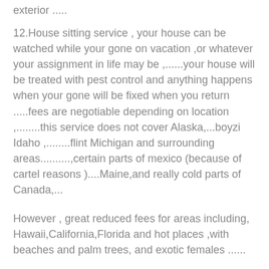exterior .....
12.House sitting service , your house can be watched while your gone on vacation ,or whatever your assignment in life may be ,......your house will be treated with pest control and anything happens when your gone will be fixed when you return .....fees are negotiable depending on location ,........this service does not cover Alaska,...boyzi Idaho ,........flint Michigan and surrounding areas..........,certain parts of mexico (because of cartel reasons )....Maine,and really cold parts of Canada,...
However , great reduced fees for areas including, Hawaii,California,Florida and hot places ,with beaches and palm trees, and exotic females ......